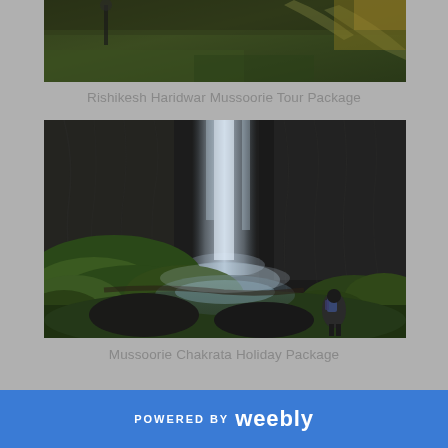[Figure (photo): Partial aerial/landscape view of Rishikesh Haridwar Mussoorie area, dark green forested terrain with pathways visible from above]
Rishikesh Haridwar Mussoorie Tour Package
[Figure (photo): A tall waterfall cascading down dark rocky cliffs surrounded by lush green moss-covered rocks, with a person with a backpack sitting at the base]
Mussoorie Chakrata Holiday Package
POWERED BY weebly